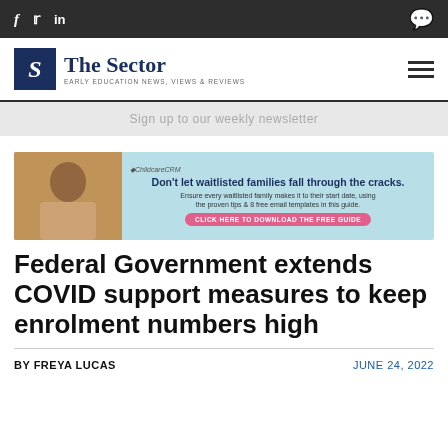f  in  [comment icon]
[Figure (logo): The Sector logo - S in blue box, text 'The Sector', subtitle 'EARLY EDUCATION NEWS, VIEWS & REVIEWS']
Sign up to our weekly newsletter
[Figure (infographic): ChildcareCRM advertisement banner: 'Don't let waitlisted families fall through the cracks. Ensure every waitlisted family makes it to their start date, using the proven tips & 8 free email templates in this guide. CLICK HERE TO DOWNLOAD THE FREE GUIDE']
Federal Government extends COVID support measures to keep enrolment numbers high
BY FREYA LUCAS
JUNE 24, 2022